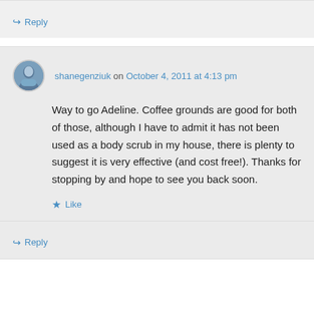Reply
shanegenziuk on October 4, 2011 at 4:13 pm
Way to go Adeline. Coffee grounds are good for both of those, although I have to admit it has not been used as a body scrub in my house, there is plenty to suggest it is very effective (and cost free!). Thanks for stopping by and hope to see you back soon.
Like
Reply